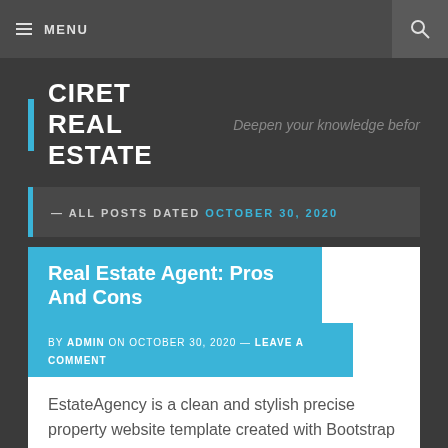MENU
CIRET REAL ESTATE — Deepen your knowledge befor
— ALL POSTS DATED OCTOBER 30, 2020
Real Estate Agent: Pros And Cons
BY ADMIN ON OCTOBER 30, 2020 — LEAVE A COMMENT
EstateAgency is a clean and stylish precise property website template created with Bootstrap framework. If you want to earn a six-decide revenue as an precise